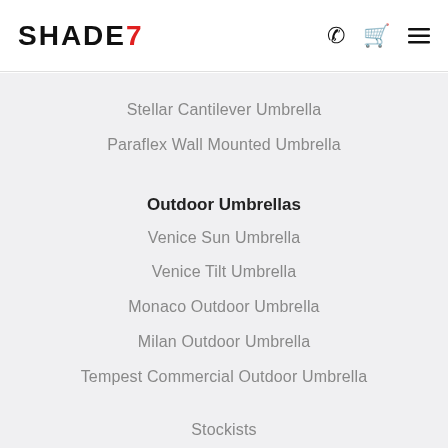SHADE7
Stellar Cantilever Umbrella
Paraflex Wall Mounted Umbrella
Outdoor Umbrellas
Venice Sun Umbrella
Venice Tilt Umbrella
Monaco Outdoor Umbrella
Milan Outdoor Umbrella
Tempest Commercial Outdoor Umbrella
Stockists